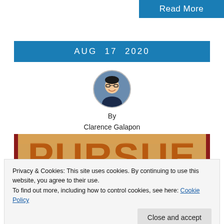Read More
AUG  17  2020
[Figure (photo): Circular author photo of Clarence Galapon, a man with glasses smiling]
By
Clarence Galapon
[Figure (photo): Book or poster cover showing the word PURSUE in large orange letters on a tan background with red border]
Privacy & Cookies: This site uses cookies. By continuing to use this website, you agree to their use.
To find out more, including how to control cookies, see here: Cookie Policy
Close and accept